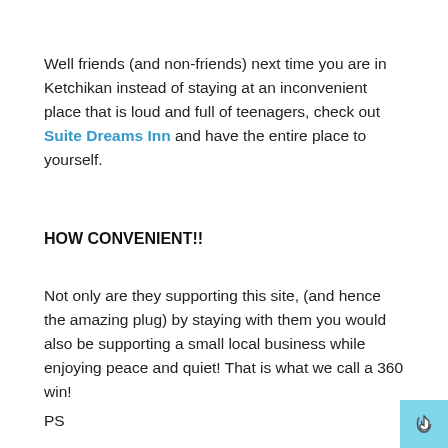Well friends (and non-friends) next time you are in Ketchikan instead of staying at an inconvenient place that is loud and full of teenagers, check out Suite Dreams Inn and have the entire place to yourself.
HOW CONVENIENT!!
Not only are they supporting this site, (and hence the amazing plug) by staying with them you would also be supporting a small local business while enjoying peace and quiet! That is what we call a 360 win!
PS